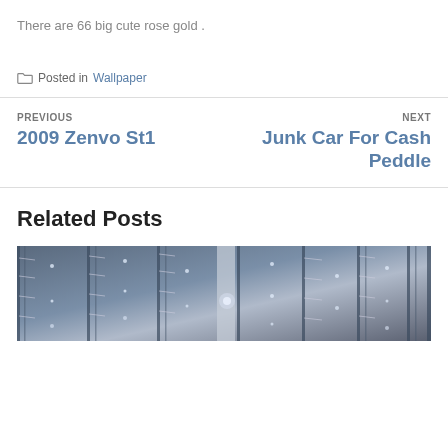There are 66 big cute rose gold .
Posted in Wallpaper
PREVIOUS
2009 Zenvo St1
NEXT
Junk Car For Cash Peddle
Related Posts
[Figure (photo): A dark blue/grey industrial or architectural photo showing vertical structures with scattered bright points, possibly a server room or abstract building interior.]